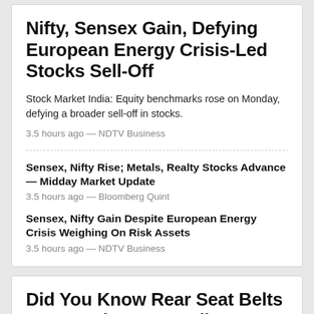Nifty, Sensex Gain, Defying European Energy Crisis-Led Stocks Sell-Off
Stock Market India: Equity benchmarks rose on Monday, defying a broader sell-off in stocks.
3.5 hours ago — NDTV Business
Sensex, Nifty Rise; Metals, Realty Stocks Advance — Midday Market Update
3.5 hours ago — Bloomberg Quint
Sensex, Nifty Gain Despite European Energy Crisis Weighing On Risk Assets
3.5 hours ago — NDTV Business
Did You Know Rear Seat Belts Are Mandatory In India?
Rear seat belts are mandatory but many people are not